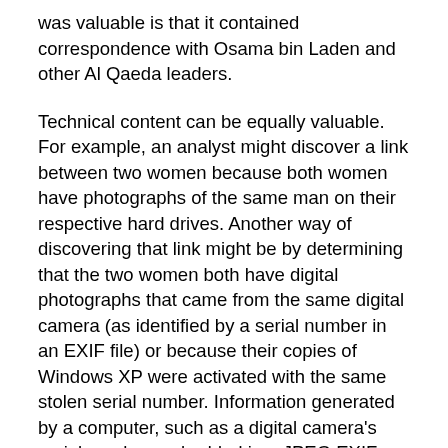was valuable is that it contained correspondence with Osama bin Laden and other Al Qaeda leaders.
Technical content can be equally valuable. For example, an analyst might discover a link between two women because both women have photographs of the same man on their respective hard drives. Another way of discovering that link might be by determining that the two women both have digital photographs that came from the same digital camera (as identified by a serial number in an EXIF file) or because their copies of Windows XP were activated with the same stolen serial number. Information generated by a computer, such as a digital camera's serial number embedded in a JPEG EXIF record, might be critical in establishing a link between two individuals And unlike the analyst who recognizes the same man, the technical connection can be made automatically—even if the two hard drives are